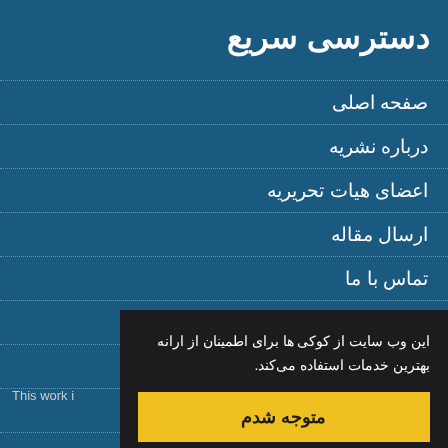دسترسی سریع
صفحه اصلی
درباره نشریه
اعضای هیات تحریریه
ارسال مقاله
تماس با ما
واژه نامه اختصاصی
اشتراک نسخه چاپی نشریه
نقشه سایت
این وب سایت از کوکی ها برای اطمینان از ارانه بهترین خدمات استفاده می‌کند.
متوجه شدم
This work i
تراک خبرنامه